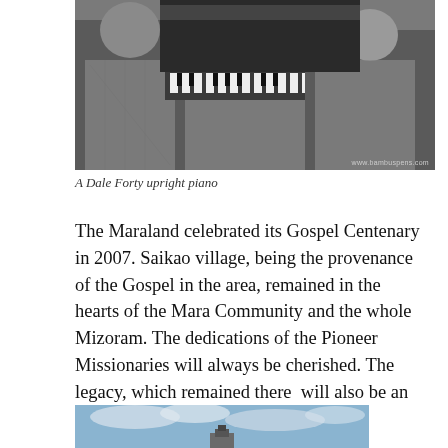[Figure (photo): Black and white photograph of a person playing an upright piano, with another person visible to the left. Watermark reads www.bambuspens.com]
A Dale Forty upright piano
The Maraland celebrated its Gospel Centenary in 2007. Saikao village, being the provenance of the Gospel in the area, remained in the hearts of the Mara Community and the whole Mizoram. The dedications of the Pioneer Missionaries will always be cherished. The legacy, which remained there  will also be an evidence of their dedications.
[Figure (photo): Partial view of a photograph showing a blue sky with clouds and what appears to be a structure or monument at the bottom center.]